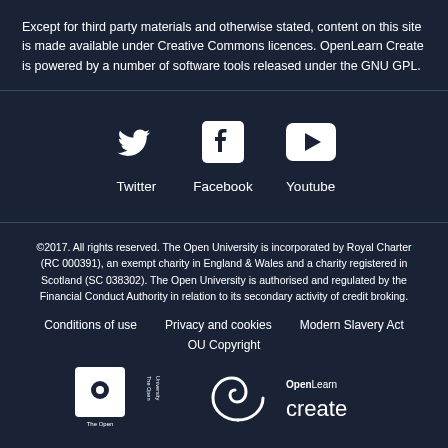Except for third party materials and otherwise stated, content on this site is made available under Creative Commons licences. OpenLearn Create is powered by a number of software tools released under the GNU GPL.
[Figure (infographic): Social media icons: Twitter bird icon, Facebook 'f' icon, YouTube play button icon, each with label below]
©2017. All rights reserved. The Open University is incorporated by Royal Charter (RC 000391), an exempt charity in England & Wales and a charity registered in Scotland (SC 038302). The Open University is authorised and regulated by the Financial Conduct Authority in relation to its secondary activity of credit broking.
Conditions of use   Privacy and cookies   Modern Slavery Act   OU Copyright
[Figure (logo): The Open University logo and OpenLearn Create logo at bottom of page]